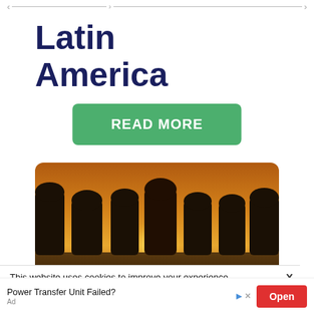Latin America
READ MORE
[Figure (photo): Silhouettes of Easter Island moai statues against a golden sunset sky with the sun visible low on the horizon]
This website uses cookies to improve your experience. We'll assume you accept this policy as long as you are
Power Transfer Unit Failed? Open Ad